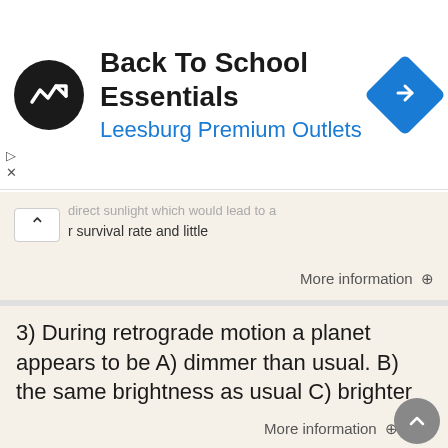[Figure (screenshot): Ad banner for Back To School Essentials at Leesburg Premium Outlets with logo icon and navigation icon]
Back To School Essentials
Leesburg Premium Outlets
...direct sunlight which would lead to a lower survival rate and little
More information →
3) During retrograde motion a planet appears to be A) dimmer than usual. B) the same brightness as usual C) brighter
Descriptive Astronomy (ASTR 108) Exam 1 B February 17, 2010 Name: In each of the following multiple choice questions, select the best possible answer. In the line on the scan sheet corresponding to the
More information →